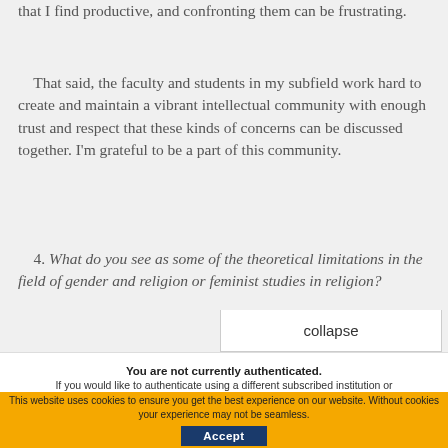that I find productive, and confronting them can be frustrating.
That said, the faculty and students in my subfield work hard to create and maintain a vibrant intellectual community with enough trust and respect that these kinds of concerns can be discussed together. I'm grateful to be a part of this community.
4. What do you see as some of the theoretical limitations in the field of gender and religion or feminist studies in religion?
collapse
You are not currently authenticated. If you would like to authenticate using a different subscribed institution or
This website uses cookies to ensure you get the best experience on our website. Without cookies your experience may not be seamless.
Accept